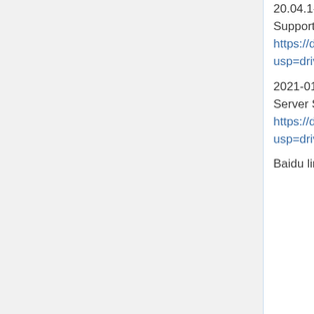20.04.1-desktop-armhf-ext4-v5.4.35-bpi-f2p.img.zip: Ubuntu Desktop system, Support HDMI interface to display Desktop. google link https://drive.google.com/file/d/1eHOMRnR1YWVxIPkBe0vtWvoMJQ9g79J2/view?usp=drivesdk
2021-01-29-ubuntu-server-20.04.1-armhf-ext4-v5.4.35-bpi-f2p.img.zip: Ubuntu Server System, it don't include Desktop, only support serial console. google link : https://drive.google.com/file/d/1zHua_PLDInUG1bnplN-3uKZcTgX3AFno/view?usp=drivesdk
Baidu link:https://pan.baidu.com/s/1JD3...